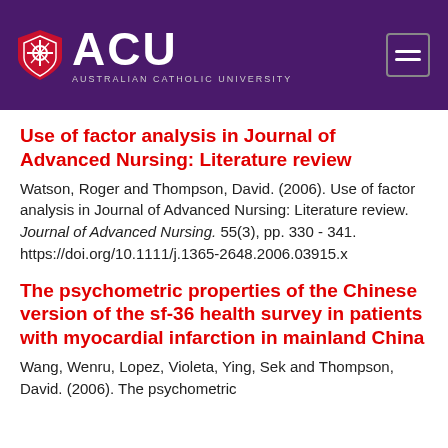[Figure (logo): ACU Australian Catholic University logo and navigation header with purple background]
Use of factor analysis in Journal of Advanced Nursing: Literature review
Watson, Roger and Thompson, David. (2006). Use of factor analysis in Journal of Advanced Nursing: Literature review. Journal of Advanced Nursing. 55(3), pp. 330 - 341. https://doi.org/10.1111/j.1365-2648.2006.03915.x
The psychometric properties of the Chinese version of the sf-36 health survey in patients with myocardial infarction in mainland China
Wang, Wenru, Lopez, Violeta, Ying, Sek and Thompson, David. (2006). The psychometric